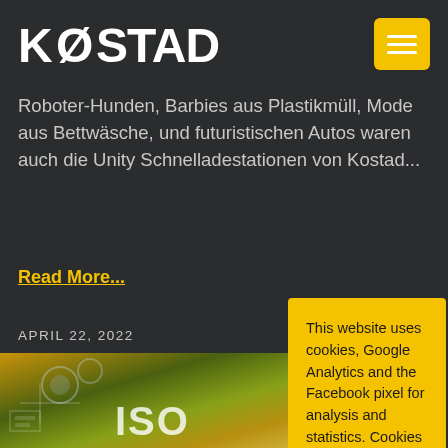KØSTAD
Roboter-Hunden, Barbies aus Plastikmüll, Mode aus Bettwäsche, und futuristischen Autos waren auch die Unity Schnelladestationen von Kostad...
Read More...
APRIL 22, 2022
[Figure (photo): Circuit board / technology themed image with ISO text overlay in yellow-green tones]
This website uses cookies, Google Analytics and the Facebook pixel for analysis and statistics. Cookies help us to improve the usability of our website. By continuing to use the website, you consent to their use. For more information, please see our privacy policy.
Accept  DSGVO